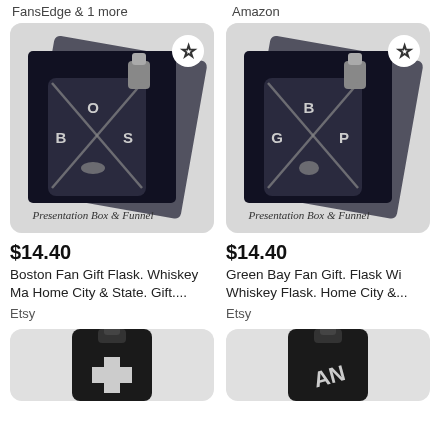FansEdge & 1 more
Amazon
[Figure (photo): Boston Fan Gift Flask in presentation box with funnel, dark flask with B-O-S letters and Massachusetts state shape]
[Figure (photo): Green Bay Fan Gift Flask in presentation box with funnel, dark flask with B-G-P letters and state shape]
$14.40
Boston Fan Gift Flask. Whiskey Ma Home City & State. Gift....
Etsy
$14.40
Green Bay Fan Gift. Flask Wi Whiskey Flask. Home City &...
Etsy
[Figure (photo): Black whiskey flask with cross/anchor symbol]
[Figure (photo): Black whiskey flask with text/logo]